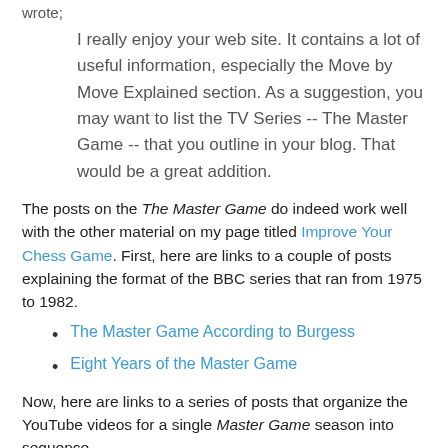wrote;
I really enjoy your web site. It contains a lot of useful information, especially the Move by Move Explained section. As a suggestion, you may want to list the TV Series -- The Master Game -- that you outline in your blog. That would be a great addition.
The posts on the The Master Game do indeed work well with the other material on my page titled Improve Your Chess Game. First, here are links to a couple of posts explaining the format of the BBC series that ran from 1975 to 1982.
The Master Game According to Burgess
Eight Years of the Master Game
Now, here are links to a series of posts that organize the YouTube videos for a single Master Game season into sequence.
BBC: The Master Game 1980
BBC: The Master Game 1981